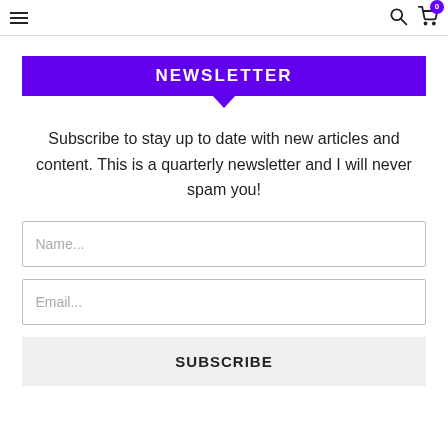Navigation header with hamburger menu, search icon, and cart icon with badge 0
NEWSLETTER
Subscribe to stay up to date with new articles and content. This is a quarterly newsletter and I will never spam you!
Name...
Email...
SUBSCRIBE